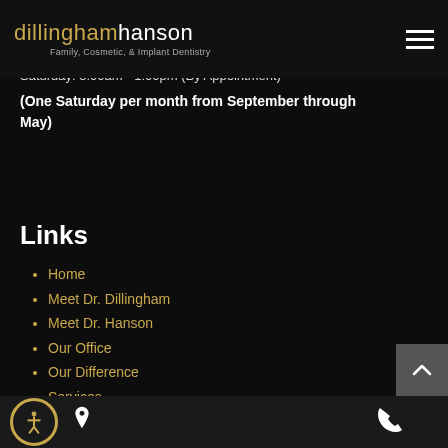dillinghamhanson — Family, Cosmetic, & Implant Dentistry
Wednesday: 8:00am - 5:00pm
Thursday: 8:00am - 5:00pm
Friday: 8:00am - 4:00pm
Saturday: 8:00am - 1:00pm (By Appointment)
(One Saturday per month from September through May)
Links
Home
Meet Dr. Dillingham
Meet Dr. Hanson
Our Office
Our Difference
Services
New Patients
Blog
Contact
Accessibility | Location | Phone